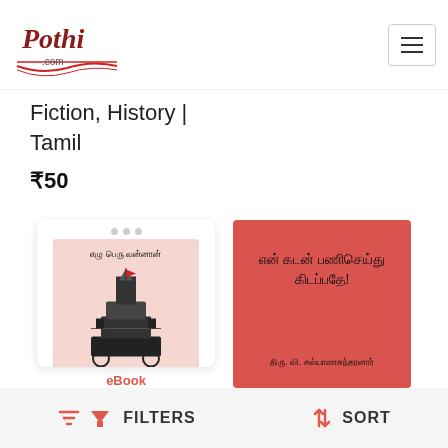[Figure (logo): Pothi.com logo with red script text and decorative underline]
Fiction, History | Tamil
₹50
[Figure (illustration): Book cover - eBook with pink background showing Tamil text 'Ezhu Peru Vann...' and temple chariot illustration]
[Figure (illustration): Book cover - red/coral background with Tamil text 'En Kadan Paniseithu Vidappathey!' and author name]
FILTERS
SORT